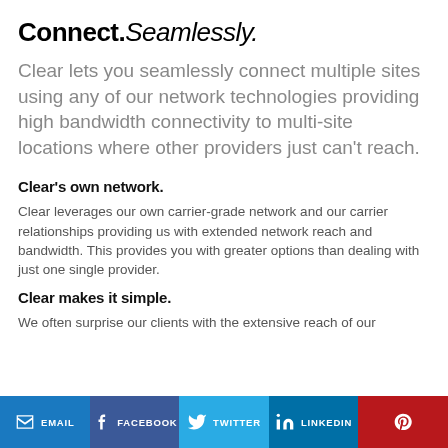Connect. Seamlessly.
Clear lets you seamlessly connect multiple sites using any of our network technologies providing high bandwidth connectivity to multi-site locations where other providers just can't reach.
Clear's own network.
Clear leverages our own carrier-grade network and our carrier relationships providing us with extended network reach and bandwidth. This provides you with greater options than dealing with just one single provider.
Clear makes it simple.
We often surprise our clients with the extensive reach of our
EMAIL   FACEBOOK   TWITTER   LINKEDIN   Pinterest